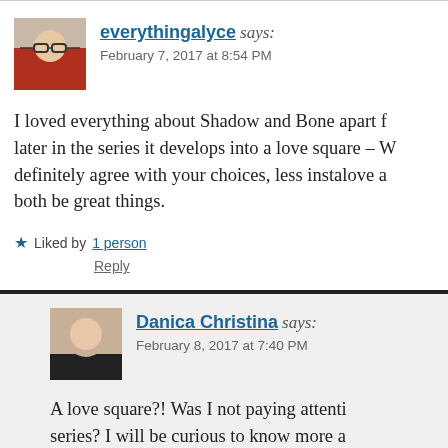everythingalyce says: February 7, 2017 at 8:54 PM
I loved everything about Shadow and Bone apart from later in the series it develops into a love square – W definitely agree with your choices, less instalove a both be great things.
Liked by 1 person
Reply
Danica Christina says: February 8, 2017 at 7:40 PM
A love square?! Was I not paying attenti series? I will be curious to know more a